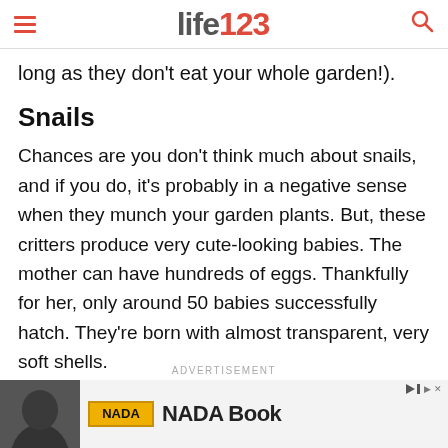life123
long as they don’t eat your whole garden!).
Snails
Chances are you don’t think much about snails, and if you do, it’s probably in a negative sense when they munch your garden plants. But, these critters produce very cute-looking babies. The mother can have hundreds of eggs. Thankfully for her, only around 50 babies successfully hatch. They’re born with almost transparent, very soft shells.
ADVERTISEMENT
[Figure (other): Advertisement banner showing NADA Book]